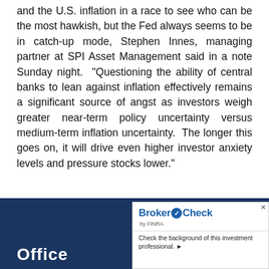and the U.S. inflation in a race to see who can be the most hawkish, but the Fed always seems to be in catch-up mode, Stephen Innes, managing partner at SPI Asset Management said in a note Sunday night. “Questioning the ability of central banks to lean against inflation effectively remains a significant source of angst as investors weigh greater near-term policy uncertainty versus medium-term inflation uncertainty. The longer this goes on, it will drive even higher investor anxiety levels and pressure stocks lower.”
[Figure (other): BrokerCheck by FINRA advertisement — 'Check the background of this investment professional.' Logo shows BrokerCheck with checkmark circle.]
Office